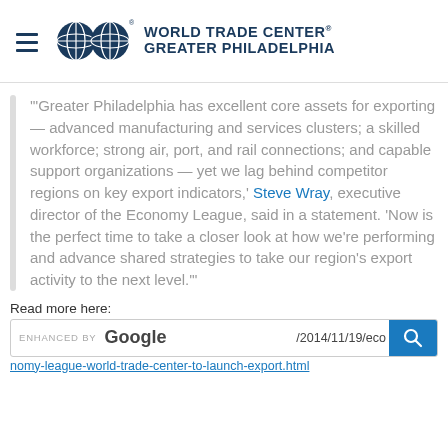WORLD TRADE CENTER® GREATER PHILADELPHIA
'"Greater Philadelphia has excellent core assets for exporting — advanced manufacturing and services clusters; a skilled workforce; strong air, port, and rail connections; and capable support organizations — yet we lag behind competitor regions on key export indicators,' Steve Wray, executive director of the Economy League, said in a statement. 'Now is the perfect time to take a closer look at how we're performing and advance shared strategies to take our region's export activity to the next level.'"
Read more here:
nomy-league-world-trade-center-to-launch-export.html